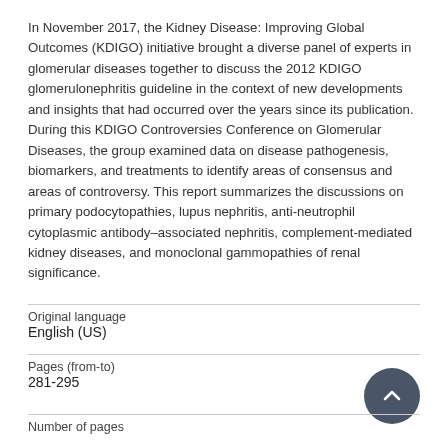In November 2017, the Kidney Disease: Improving Global Outcomes (KDIGO) initiative brought a diverse panel of experts in glomerular diseases together to discuss the 2012 KDIGO glomerulonephritis guideline in the context of new developments and insights that had occurred over the years since its publication. During this KDIGO Controversies Conference on Glomerular Diseases, the group examined data on disease pathogenesis, biomarkers, and treatments to identify areas of consensus and areas of controversy. This report summarizes the discussions on primary podocytopathies, lupus nephritis, anti-neutrophil cytoplasmic antibody–associated nephritis, complement-mediated kidney diseases, and monoclonal gammopathies of renal significance.
| Field | Value |
| --- | --- |
| Original language | English (US) |
| Pages (from-to) | 281-295 |
| Number of pages |  |